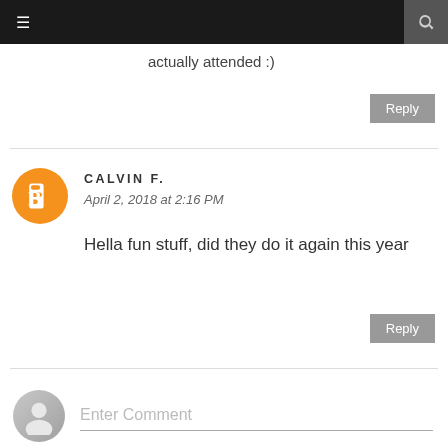≡  [search icon]
actually attended :)
Reply
CALVIN F.
April 2, 2018 at 2:16 PM
Hella fun stuff, did they do it again this year
Reply
Enter Comment